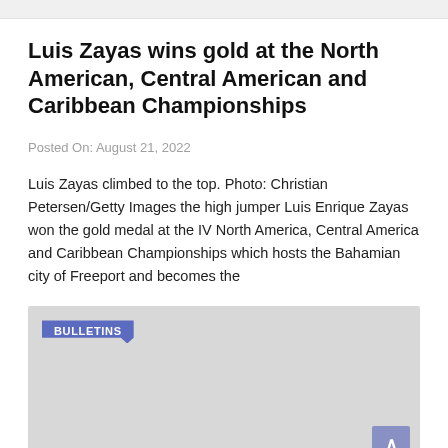Luis Zayas wins gold at the North American, Central American and Caribbean Championships
Posted On: August 21, 2022
Luis Zayas climbed to the top. Photo: Christian Petersen/Getty Images the high jumper Luis Enrique Zayas won the gold medal at the IV North America, Central America and Caribbean Championships which hosts the Bahamian city of Freeport and becomes the
[Figure (other): Bulletins widget area with blue 'BULLETINS' label tag and a scroll-to-top button in the bottom right corner, on a light gray background.]